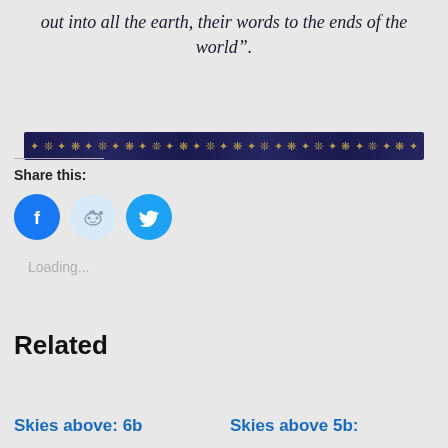out into all the earth, their words to the ends of the world".
[Figure (illustration): A decorative horizontal banner with a dark navy blue background covered in repeating golden star/snowflake patterns with plant-like feathery designs.]
Share this:
[Figure (infographic): Three social media share buttons: Facebook (blue circle with f icon), Reddit (light blue circle with alien icon), Twitter (blue circle with bird icon)]
Loading...
Related
Skies above: 6b
Skies above 5b: